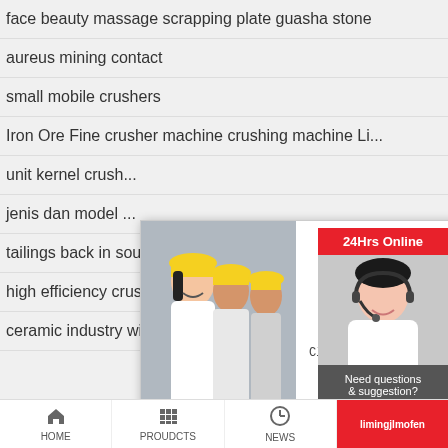face beauty massage scrapping plate guasha stone
aureus mining contact
small mobile crushers
Iron Ore Fine crusher machine crushing machine Li...
unit kernel crush...
jenis dan model ...
tailings back in south africa
high efficiency crusher granite
ceramic industry with soapstone grinding mill in qui...
[Figure (screenshot): Live chat popup with workers in hard hats on left, LIVE CHAT text in red, 'Click for a Free Consultation' subtitle, Chat now (red) and Chat later (dark) buttons]
[Figure (infographic): Right sidebar showing 24Hrs Online banner, agent photo, Need questions & suggestion? panel, Chat Now button, Enquiry, limingjlmofen]
HOME | PROUDCTS | NEWS | limingjlmofen